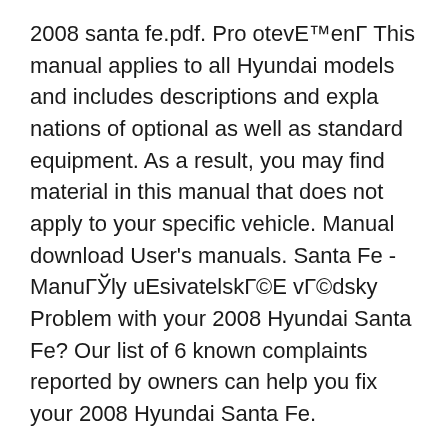2008 santa fe.pdf. Pro otevЕ™enГ This manual applies to all Hyundai models and includes descriptions and expla nations of optional as well as standard equipment. As a result, you may find material in this manual that does not apply to your specific vehicle. Manual download User's manuals. Santa Fe - ManuГЎly uEsivatelskГ©E vГ©dsky Problem with your 2008 Hyundai Santa Fe? Our list of 6 known complaints reported by owners can help you fix your 2008 Hyundai Santa Fe.
Where Can I Find A Hyundai Service Manual? The best place to find a service manual for any vehicle is somewhere that allows you to download the relevant information for free вЂ"